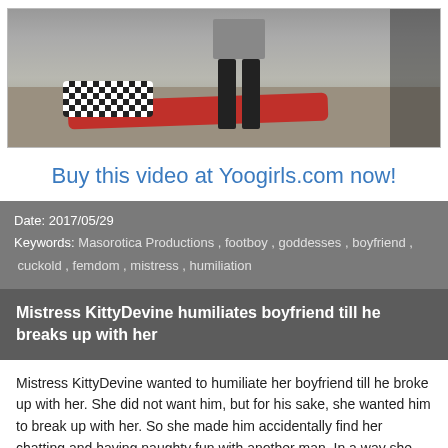[Figure (photo): A photo showing a person lying on the ground wearing a checkered top and red pants, with another person standing over them, wearing dark boots and gray pants, outdoors near a stone wall.]
Buy this video at Yoogirls.com now!
Date: 2017/05/29
Keywords: Masorotica Productions , footboy , goddesses , boyfriend , cuckold , femdom , mistress , humiliation
Mistress KittyDevine humiliates boyfriend till he breaks up with her
Mistress KittyDevine wanted to humiliate her boyfriend till he broke up with her. She did not want him, but for his sake, she wanted him to break up with her. So she made him accidentally find her chatting and having naughty fun with another man. In a way she wanted to cuckold him, but not in a manner that was obvious for him to know she had made it up. She made it look accidental and real and he left her like she hoped he would.